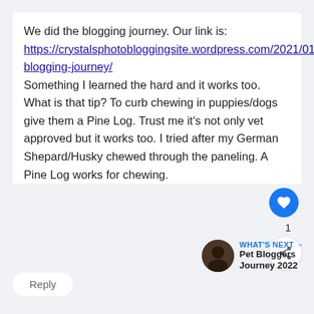We did the blogging journey. Our link is: https://crystalsphotobloggingsite.wordpress.com/2021/01/17/our-blogging-journey/ Something I learned the hard and it works too. What is that tip? To curb chewing in puppies/dogs give them a Pine Log. Trust me it's not only vet approved but it works too. I tried after my German Shepard/Husky chewed through the paneling. A Pine Log works for chewing.
Reply